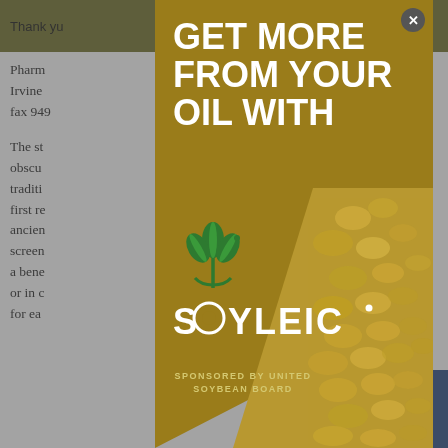Thank you ... tools you
Pharm... 515, Irvine ... 203, fax 949...
The st... obscure ... tradition ... ures first re... ancient ... ary screen ... ted in a bene... or in c... for ea...
[Figure (infographic): Modal advertisement overlay with gold background. Headline text: GET MORE FROM YOUR OIL WITH. Soyleic logo with plant icon. Sponsored by United Soybean Board. Bottom-right shows textured soybean grain photo.]
[Figure (other): Blue 'Top' button with upward arrow in bottom-right corner]